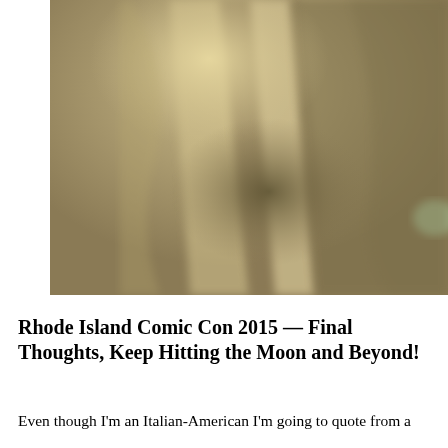[Figure (photo): A blurry close-up photograph with warm beige and brown tones, showing what appears to be fabric or textile material with soft folds and a small green/teal highlight in the lower right area.]
Rhode Island Comic Con 2015 — Final Thoughts, Keep Hitting the Moon and Beyond!
Even though I'm an Italian-American I'm going to quote from a